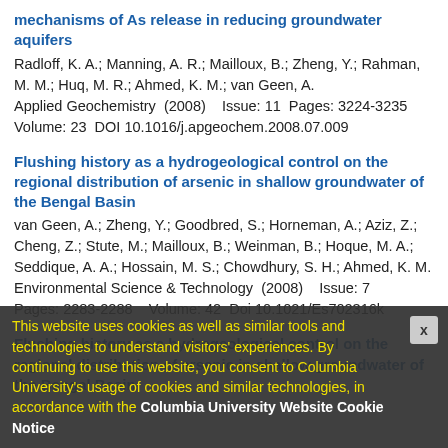mechanisms of As release in reducing groundwater aquifers
Radloff, K. A.; Manning, A. R.; Mailloux, B.; Zheng, Y.; Rahman, M. M.; Huq, M. R.; Ahmed, K. M.; van Geen, A.
Applied Geochemistry  (2008)    Issue: 11  Pages: 3224-3235
Volume: 23  DOI 10.1016/j.apgeochem.2008.07.009
Flushing history as a hydrogeological control on the regional distribution of arsenic in shallow groundwater of the Bengal Basin
van Geen, A.; Zheng, Y.; Goodbred, S.; Horneman, A.; Aziz, Z.; Cheng, Z.; Stute, M.; Mailloux, B.; Weinman, B.; Hoque, M. A.; Seddique, A. A.; Hossain, M. S.; Chowdhury, S. H.; Ahmed, K. M.
Environmental Science & Technology  (2008)    Issue: 7
Pages: 2283-2288    Volume: 42  Doi 10.1021/Es702316k
Flushing history as a hydrogeological control on the regional distribution of arsenic in shallow groundwater of the Bengal Basin
This website uses cookies as well as similar tools and technologies to understand visitors' experiences. By continuing to use this website, you consent to Columbia University's usage of cookies and similar technologies, in accordance with the Columbia University Website Cookie Notice